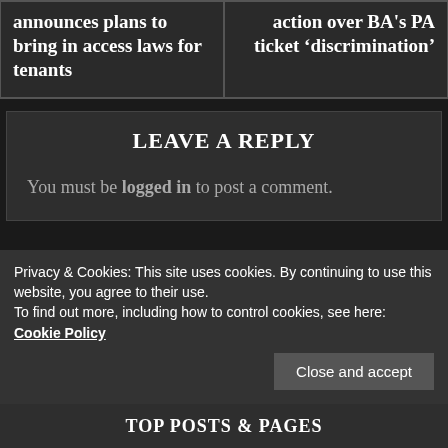announces plans to bring in access laws for tenants
action over BA's PA ticket 'discrimination'
LEAVE A REPLY
You must be logged in to post a comment.
Privacy & Cookies: This site uses cookies. By continuing to use this website, you agree to their use.
To find out more, including how to control cookies, see here: Cookie Policy
Close and accept
TOP POSTS & PAGES